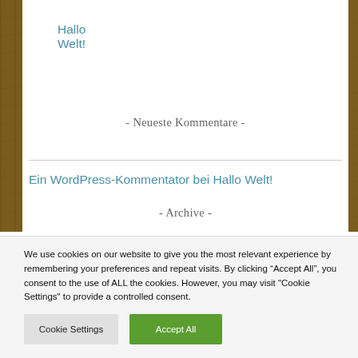Hallo Welt!
- Neueste Kommentare -
Ein WordPress-Kommentator bei Hallo Welt!
- Archive -
We use cookies on our website to give you the most relevant experience by remembering your preferences and repeat visits. By clicking “Accept All”, you consent to the use of ALL the cookies. However, you may visit "Cookie Settings" to provide a controlled consent.